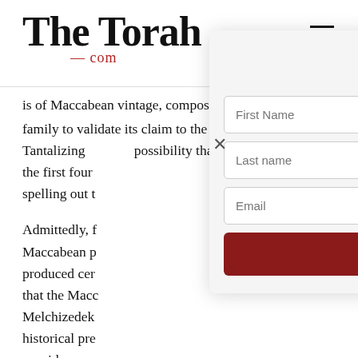The Torah —com
is of Maccabean vintage, composed by the ruling family to validate its claim to the priesthood. [13] Tantalizing possibility that the first letters from the first four spelling out t
Admittedly, f Maccabean p produced cen that the Macc Melchizedek historical pre provides a re Dead Sea sect themselves e
[Figure (other): Newsletter subscription modal with fields for First Name, Last Name, Email, and a Subscribe button. Title reads: Stay updated with the latest scholarship. A close (X) button is visible.]